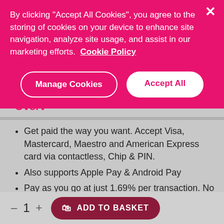By clicking "Accept All Cookies", you agree to the storing of cookies on your device to enhance site navigation, analyze site usage, and assist in our marketing efforts. Cookie Policy
Manage Cookies
Accept All
- Overv
Get paid the way you want. Accept Visa, Mastercard, Maestro and American Express card via contactless, Chip & PIN.
Also supports Apple Pay & Android Pay
Pay as you go at just 1.69% per transaction. No monthly fees, no fixed contract.
Rechargeable: Battery lasts for 500+ transactions, charges via USB (included)
Secure: Meets the highest security requirements (EMV & PCI certified)
— 1 + ADD TO BASKET